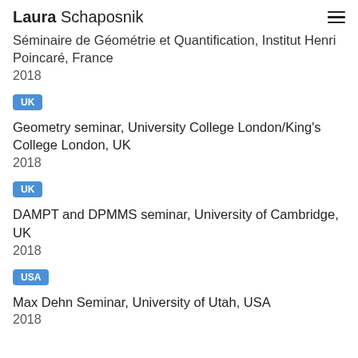Laura Schaposnik
Séminaire de Géométrie et Quantification, Institut Henri Poincaré, France
2018
UK
Geometry seminar, University College London/King's College London, UK
2018
UK
DAMPT and DPMMS seminar, University of Cambridge, UK
2018
USA
Max Dehn Seminar, University of Utah, USA
2018